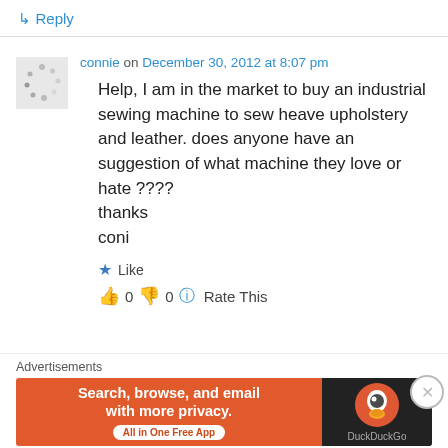↳ Reply
connie on December 30, 2012 at 8:07 pm
Help, I am in the market to buy an industrial sewing machine to sew heave upholstery and leather. does anyone have an suggestion of what machine they love or hate ????
thanks
coni
★ Like
👍 0 👎 0 ℹ Rate This
Advertisements
[Figure (screenshot): DuckDuckGo advertisement banner with orange background. Text reads: Search, browse, and email with more privacy. All in One Free App. DuckDuckGo logo on dark right panel.]